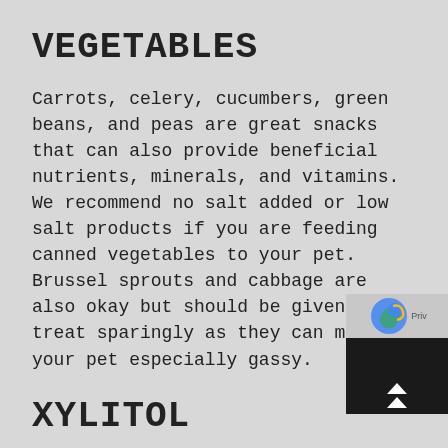VEGETABLES
Carrots, celery, cucumbers, green beans, and peas are great snacks that can also provide beneficial nutrients, minerals, and vitamins. We recommend no salt added or low salt products if you are feeding canned vegetables to your pet. Brussel sprouts and cabbage are also okay but should be given as a treat sparingly as they can make your pet especially gassy.
XYLITOL
Xylitol is a common sweetener used in many products such as candy, gum, baked goods, sodas, mouthwash, and toothpaste. It can cause insulin release in most species which can lead to liver failure. Low insulin levels can also lower blood sugar levels leading to symptoms such as vomiting, lethargy, loss of coordination, and possible seizures.